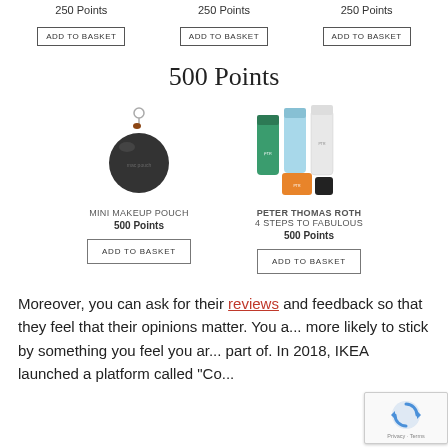250 Points
250 Points
250 Points
ADD TO BASKET
ADD TO BASKET
ADD TO BASKET
500 Points
[Figure (photo): Mini makeup pouch - small round black pouch with key ring]
[Figure (photo): Peter Thomas Roth 4 Steps to Fabulous skincare set with multiple tubes and bottles]
MINI MAKEUP POUCH
500 Points
PETER THOMAS ROTH
4 STEPS TO FABULOUS
500 Points
ADD TO BASKET
ADD TO BASKET
Moreover, you can ask for their reviews and feedback so that they feel that their opinions matter. You a... more likely to stick by something you feel you ar... part of. In 2018, IKEA launched a platform called "Co...